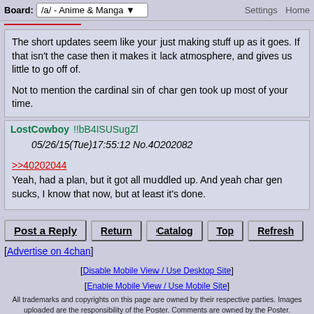Board: /a/ - Anime & Manga  Settings  Home
The short updates seem like your just making stuff up as it goes. If that isn't the case then it makes it lack atmosphere, and gives us little to go off of.

Not to mention the cardinal sin of char gen took up most of your time.
LostCowboy !!bB4ISUSugZl  05/26/15(Tue)17:55:12 No.40202082
>>40202044
Yeah, had a plan, but it got all muddled up. And yeah char gen sucks, I know that now, but at least it's done.
Post a Reply
Return  Catalog  Top  Refresh
[Advertise on 4chan]
[Disable Mobile View / Use Desktop Site]
[Enable Mobile View / Use Mobile Site]
All trademarks and copyrights on this page are owned by their respective parties. Images uploaded are the responsibility of the Poster. Comments are owned by the Poster.